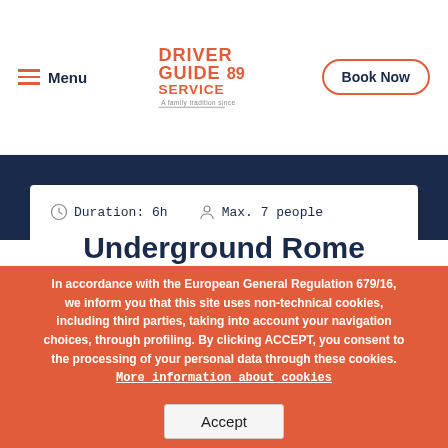Menu | Driver Guide Service 89 - A family tradition since | Book Now
Duration: 6h   Max. 7 people
Underground Rome
from 220.00€
In accordance with the European General Regulation 679/16, we inform you that this site uses non-technical cookies, including third parties, taking into account your navigation choices, through profiling. By clicking ACCEPT, you consent to the processing of your personal data through these cookies. More information about cookies
Accept